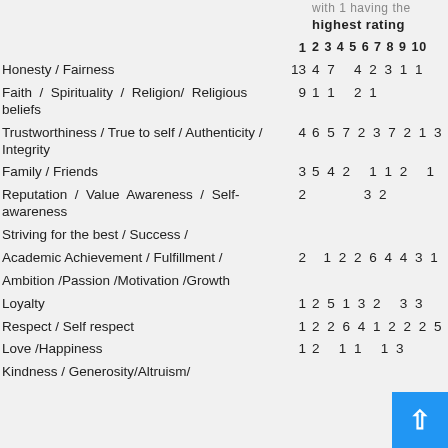| Value/Attribute | 1 | 2 3 4 5 6 7 8 9 10 |
| --- | --- | --- |
| Honesty / Fairness | 13 | 4 7   4 2 3 1 1 |
| Faith / Spirituality / Religion/ Religious beliefs | 9 | 1 1   2 1 |
| Trustworthiness / True to self / Authenticity / Integrity | 4 | 6 5 7 2 3 7 2 1 3 |
| Family / Friends | 3 | 5 4 2   1 1 2   1 |
| Reputation / Value Awareness / Self-awareness | 2 |           3 2 |
| Striving for the best / Success / |  |  |
| Academic Achievement / Fulfillment / | 2 |   1 2 2 6 4 4 3 1 |
| Ambition /Passion /Motivation /Growth |  |  |
| Loyalty | 1 | 2 5 1 3 2   3 3 |
| Respect / Self respect | 1 | 2 2 6 4 1 2 2 2 5 |
| Love /Happiness | 1 | 2   1 1   1 3 |
| Kindness / Generosity/Altruism/ |  |  |